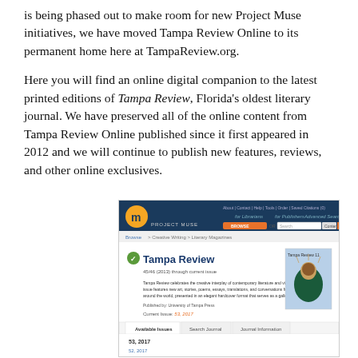is being phased out to make room for new Project Muse initiatives, we have moved Tampa Review Online to its permanent home here at TampaReview.org.
Here you will find an online digital companion to the latest printed editions of Tampa Review, Florida's oldest literary journal. We have preserved all of the online content from Tampa Review Online published since it first appeared in 2012 and we will continue to publish new features, reviews, and other online exclusives.
[Figure (screenshot): Screenshot of Project Muse website showing Tampa Review journal page with navigation, search bar, journal description, cover image, available issues tabs, and issue listings for 53, 2017 and 52, 2017.]